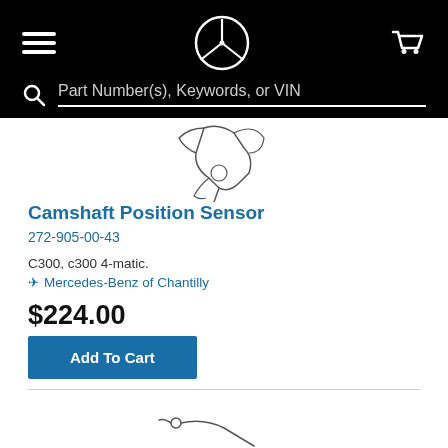Mercedes-Benz parts website header with navigation menu, logo, cart icon, and search bar with placeholder: Part Number(s), Keywords, or VIN
[Figure (illustration): Line drawing of a camshaft position sensor part, partially visible at top of content area]
Camshaft Position Sensor
272-905-00-43
C300, c300 4-matic.
Mercedes-Benz of Chantilly
$224.00
Add To Cart
[Figure (illustration): Line drawing of a cable or wire sensor part, partially visible at bottom of page]